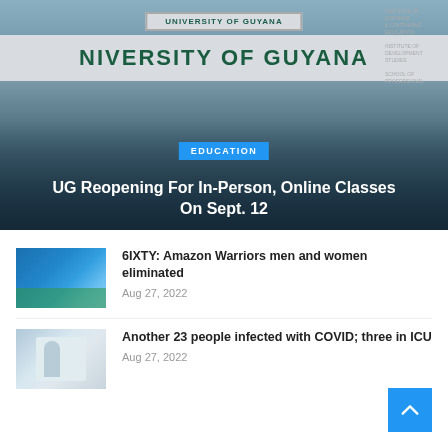[Figure (photo): University of Guyana building exterior with large teal letters on facade reading UNIVERSITY OF GUYANA]
EDUCATION
UG Reopening For In-Person, Online Classes On Sept. 12
[Figure (photo): Cricket match photo showing Amazon Warriors players on the field]
6IXTY: Amazon Warriors men and women eliminated
Aug 27, 2022
[Figure (photo): Healthcare worker in PPE suit administering COVID test or treatment]
Another 23 people infected with COVID; three in ICU
Aug 27, 2022